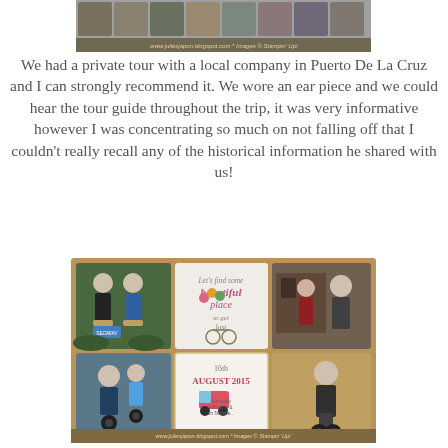[Figure (photo): Top partial photo strip with watermark: www.juliesjapon.blogspot.com * Images © Stampin' Up!]
We had a private tour with a local company in Puerto De La Cruz and I can strongly recommend it. We wore an ear piece and we could hear the tour guide throughout the trip, it was very informative however I was concentrating so much on not falling off that I couldn't really recall any of the historical information he shared with us!
[Figure (photo): Photo collage/scrapbook page with segway tour photos, decorative cards. Shows people on segways wearing helmets. Date card reads '16th AUGUST 2015'. Decorative card reads 'Let's find some beautiful place to get lost'. Bottom watermark: www.juliesjapon.blogspot.com * Images © Stampin' Up!]